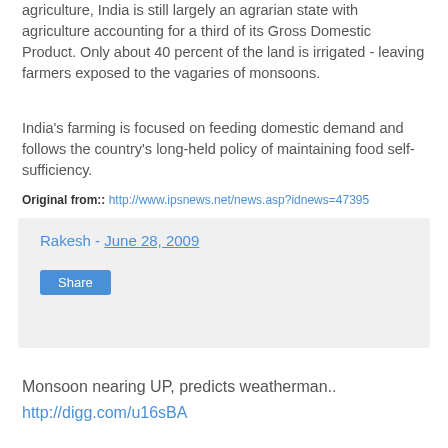agriculture, India is still largely an agrarian state with agriculture accounting for a third of its Gross Domestic Product. Only about 40 percent of the land is irrigated - leaving farmers exposed to the vagaries of monsoons.
India's farming is focused on feeding domestic demand and follows the country's long-held policy of maintaining food self-sufficiency.
Original from:: http://www.ipsnews.net/news.asp?idnews=47395
Rakesh - June 28, 2009
Share
Monsoon nearing UP, predicts weatherman.. http://digg.com/u16sBA